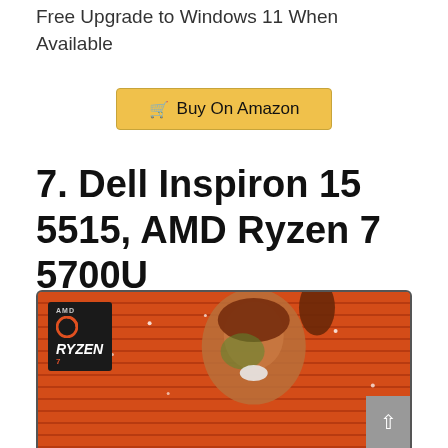Free Upgrade to Windows 11 When Available
Buy On Amazon
7. Dell Inspiron 15 5515, AMD Ryzen 7 5700U
[Figure (photo): Dell Inspiron 15 5515 laptop product photo showing laptop screen displaying AMD Ryzen 7 branding with a person laughing in front of an orange/red background]